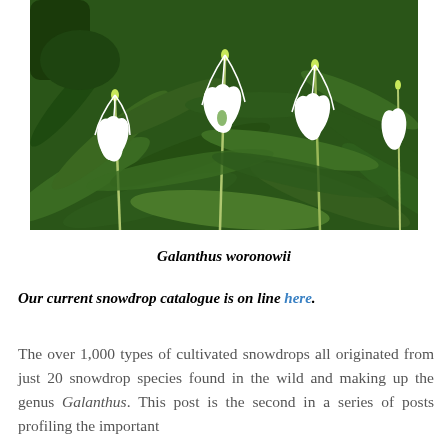[Figure (photo): Photograph of Galanthus woronowii snowdrop flowers with white drooping blooms and broad green leaves, growing densely together]
Galanthus woronowii
Our current snowdrop catalogue is on line here.
The over 1,000 types of cultivated snowdrops all originated from just 20 snowdrop species found in the wild and making up the genus Galanthus. This post is the second in a series of posts profiling the important